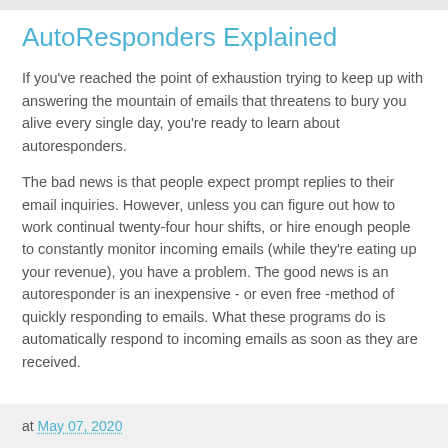AutoResponders Explained
If you've reached the point of exhaustion trying to keep up with answering the mountain of emails that threatens to bury you alive every single day, you're ready to learn about autoresponders.
The bad news is that people expect prompt replies to their email inquiries. However, unless you can figure out how to work continual twenty-four hour shifts, or hire enough people to constantly monitor incoming emails (while they're eating up your revenue), you have a problem. The good news is an autoresponder is an inexpensive - or even free -method of quickly responding to emails. What these programs do is automatically respond to incoming emails as soon as they are received.
at May 07, 2020